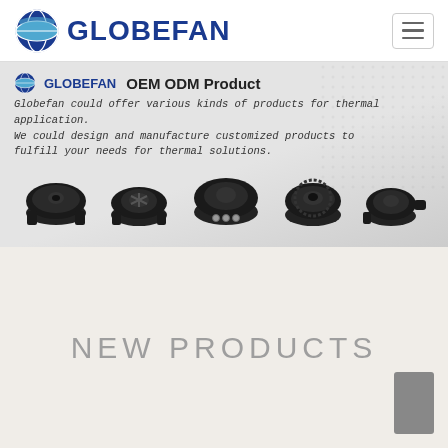[Figure (logo): Globefan company logo with globe icon and bold blue GLOBEFAN text]
[Figure (infographic): Banner showing GLOBEFAN OEM ODM Product with 5 black fan/blower product photos and dot-grid background. Text: Globefan could offer various kinds of products for thermal application. We could design and manufacture customized products to fulfill your needs for thermal solutions.]
NEW PRODUCTS
[Figure (other): Scroll position indicator bar on bottom right]